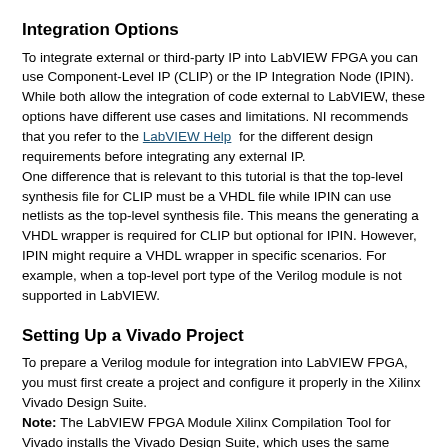Integration Options
To integrate external or third-party IP into LabVIEW FPGA you can use Component-Level IP (CLIP) or the IP Integration Node (IPIN). While both allow the integration of code external to LabVIEW, these options have different use cases and limitations. NI recommends that you refer to the LabVIEW Help for the different design requirements before integrating any external IP.
One difference that is relevant to this tutorial is that the top-level synthesis file for CLIP must be a VHDL file while IPIN can use netlists as the top-level synthesis file. This means the generating a VHDL wrapper is required for CLIP but optional for IPIN. However, IPIN might require a VHDL wrapper in specific scenarios. For example, when a top-level port type of the Verilog module is not supported in LabVIEW.
Setting Up a Vivado Project
To prepare a Verilog module for integration into LabVIEW FPGA, you must first create a project and configure it properly in the Xilinx Vivado Design Suite.
Note: The LabVIEW FPGA Module Xilinx Compilation Tool for Vivado installs the Vivado Design Suite, which uses the same compiler version and configuration as the LabVIEW FPGA Module. NI recommends that you use this version of Vivado Design Suite for preparing any third-party or external IP for integration into LabVIEW FPGA when using Vivado.